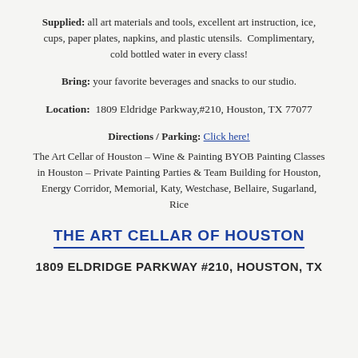Supplied: all art materials and tools, excellent art instruction, ice, cups, paper plates, napkins, and plastic utensils. Complimentary, cold bottled water in every class!
Bring: your favorite beverages and snacks to our studio.
Location: 1809 Eldridge Parkway,#210, Houston, TX 77077
Directions / Parking: Click here!
The Art Cellar of Houston – Wine & Painting BYOB Painting Classes in Houston – Private Painting Parties & Team Building for Houston, Energy Corridor, Memorial, Katy, Westchase, Bellaire, Sugarland, Rice
THE ART CELLAR OF HOUSTON
1809 ELDRIDGE PARKWAY #210, HOUSTON, TX